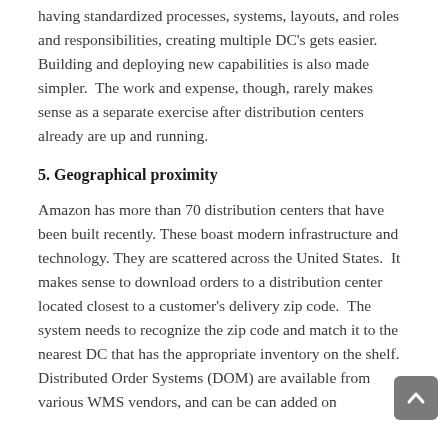having standardized processes, systems, layouts, and roles and responsibilities, creating multiple DC's gets easier. Building and deploying new capabilities is also made simpler.  The work and expense, though, rarely makes sense as a separate exercise after distribution centers already are up and running.
5. Geographical proximity
Amazon has more than 70 distribution centers that have been built recently. These boast modern infrastructure and technology. They are scattered across the United States.  It makes sense to download orders to a distribution center located closest to a customer's delivery zip code.  The system needs to recognize the zip code and match it to the nearest DC that has the appropriate inventory on the shelf. Distributed Order Systems (DOM) are available from various WMS vendors, and can be can added on